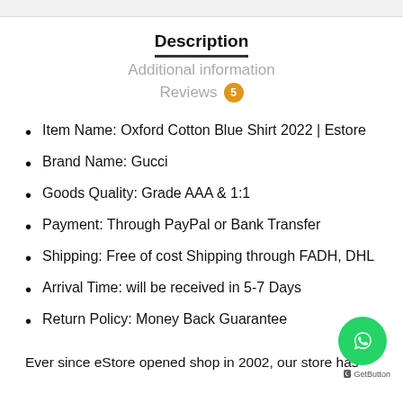Description
Additional information
Reviews 5
Item Name: Oxford Cotton Blue Shirt 2022 | Estore
Brand Name: Gucci
Goods Quality: Grade AAA & 1:1
Payment: Through PayPal or Bank Transfer
Shipping: Free of cost Shipping through FADH, DHL
Arrival Time: will be received in 5-7 Days
Return Policy: Money Back Guarantee
Ever since eStore opened shop in 2002, our store has